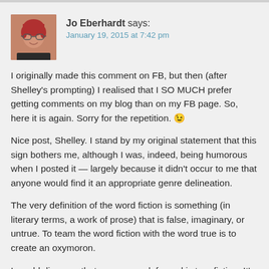[Figure (photo): Profile photo of Jo Eberhardt, a woman with short red hair and glasses]
Jo Eberhardt says:
January 19, 2015 at 7:42 pm
I originally made this comment on FB, but then (after Shelley's prompting) I realised that I SO MUCH prefer getting comments on my blog than on my FB page. So, here it is again. Sorry for the repetition. 😉
Nice post, Shelley. I stand by my original statement that this sign bothers me, although I was, indeed, being humorous when I posted it — largely because it didn't occur to me that anyone would find it an appropriate genre delineation.
The very definition of the word fiction is something (in literary terms, a work of prose) that is false, imaginary, or untrue. To team the word fiction with the word true is to create an oxymoron.
I would disagree that a roman a clef novel is true fiction. It's a novel with a key; a work of non-fiction that uses a